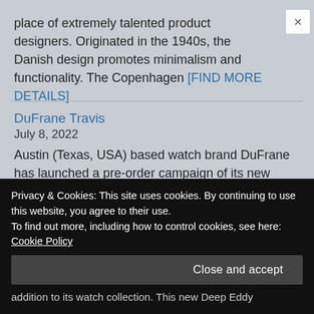place of extremely talented product designers. Originated in the 1940s, the Danish design promotes minimalism and functionality. The Copenhagen [FIND MORE DETAILS]
DuFrane Travis
July 8, 2022
Austin (Texas, USA) based watch brand DuFrane has launched a pre-order campaign of its new diving watch Travis. This 39mm recreational diving watch in stainless steel is water resistant up to 200m [FIND MORE DETAILS]
Privacy & Cookies: This site uses cookies. By continuing to use this website, you agree to their use.
To find out more, including how to control cookies, see here: Cookie Policy
Close and accept
addition to its watch collection. This new Deep Eddy